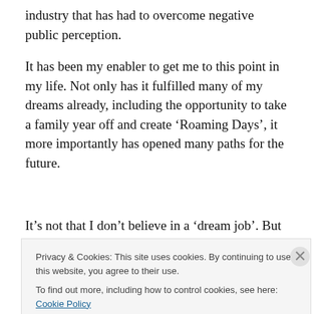industry that has had to overcome negative public perception.
It has been my enabler to get me to this point in my life. Not only has it fulfilled many of my dreams already, including the opportunity to take a family year off and create ‘Roaming Days’, it more importantly has opened many paths for the future.
It’s not that I don’t believe in a ‘dream job’. But I’m an advocate for having the right job for a time in one’s life, as a job is only one portion of living a full life.
Privacy & Cookies: This site uses cookies. By continuing to use this website, you agree to their use.
To find out more, including how to control cookies, see here: Cookie Policy